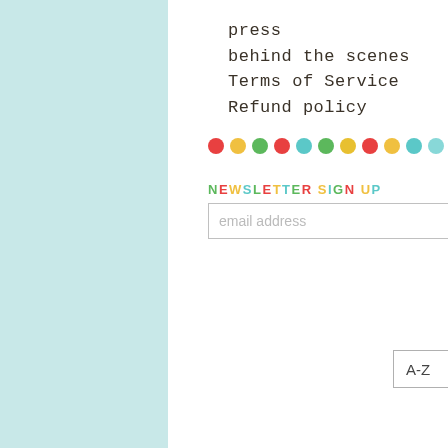press
behind the scenes
Terms of Service
Refund policy
[Figure (illustration): A row of colorful dots: red, yellow, green, red, teal, green, yellow, red, yellow, teal, light-teal]
NEWSLETTER SIGN UP
email address
submit
A-Z